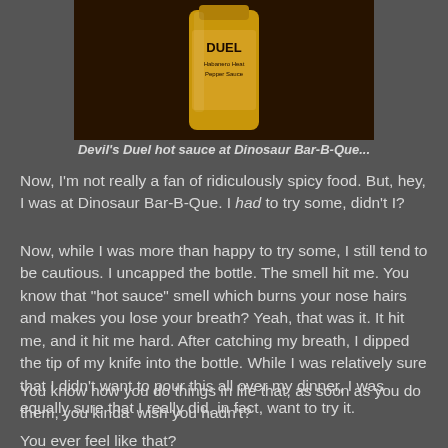[Figure (photo): A bottle of Devil's Duel hot sauce with a yellow label on a dark background]
Devil's Duel hot sauce at Dinosaur Bar-B-Que...
Now, I'm not really a fan of ridiculously spicy food. But, hey, I was at Dinosaur Bar-B-Que. I had to try some, didn't I?
Now, while I was more than happy to try some, I still tend to be cautious. I uncapped the bottle. The smell hit me. You know that "hot sauce" smell which burns your nose hairs and makes you lose your breath? Yeah, that was it. It hit me, and it hit me hard. After catching my breath, I dipped the tip of my knife into the bottle. While I was relatively sure that I didn't want to pour this all over my dinner, I was equally sure that I really did, in fact, want to try it.
You know how you do things in life that, as soon as you do them, you kinda' wish you hadn't?
You ever feel like that?